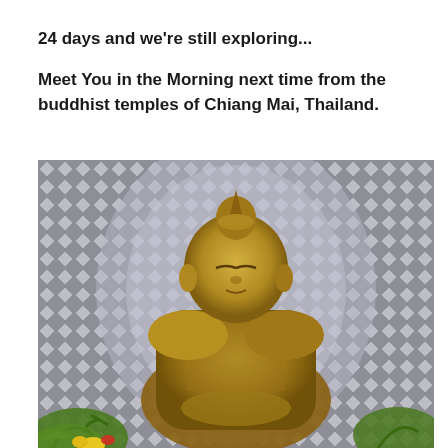24 days and we're still exploring...
Meet You in the Morning next time from the buddhist temples of Chiang Mai, Thailand.
[Figure (photo): A golden Buddha statue in meditation pose, with a decorative silver/grey mosaic diamond-pattern halo/backdrop behind it. Green foliage and flowers are visible at the base. The setting appears to be a Buddhist temple in Chiang Mai, Thailand.]